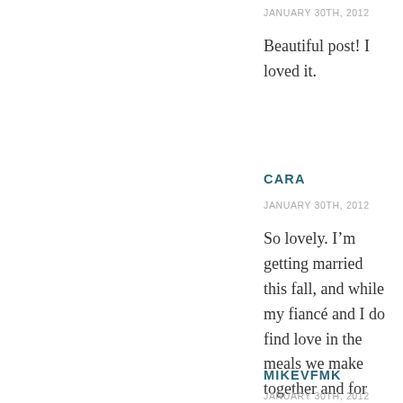JANUARY 30TH, 2012
Beautiful post! I loved it.
CARA
JANUARY 30TH, 2012
So lovely. I’m getting married this fall, and while my fiancé and I do find love in the meals we make together and for each other, it’s hard to picture life when we’re married, a bunch of years down the road. Thank you for sharing.
MIKEVFMK
JANUARY 30TH, 2012